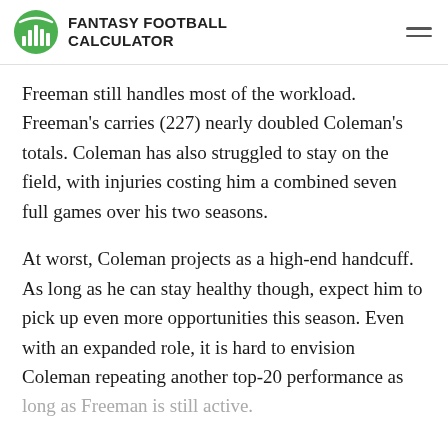FANTASY FOOTBALL CALCULATOR
Freeman still handles most of the workload. Freeman’s carries (227) nearly doubled Coleman’s totals. Coleman has also struggled to stay on the field, with injuries costing him a combined seven full games over his two seasons.
At worst, Coleman projects as a high-end handcuff. As long as he can stay healthy though, expect him to pick up even more opportunities this season. Even with an expanded role, it is hard to envision Coleman repeating another top-20 performance as long as Freeman is still active.